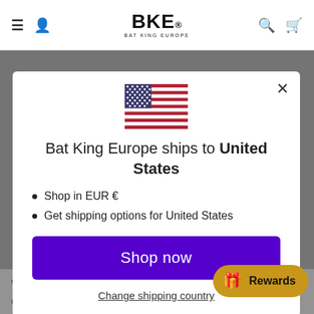BKE BAT KING EUROPE
[Figure (screenshot): Modal popup on Bat King Europe website showing US flag, shipping info for United States, Shop now button, and Change shipping country link]
Bat King Europe ships to United States
Shop in EUR €
Get shipping options for United States
Shop now
Change shipping country
We do not guarantee, represent or war... our service will be uninterrupted, timely, secure or error-